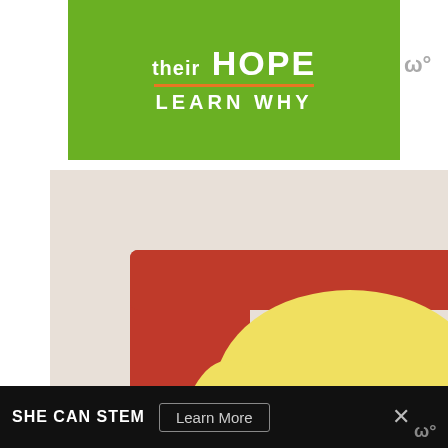[Figure (illustration): Green advertisement banner with text 'their HOPE' in white bold letters, an orange underline, and 'LEARN WHY' in white bold capital letters below]
[Figure (photo): A smiling blonde toddler boy in a navy striped shirt sitting on an orange chair, with a smiling brown-haired woman leaning in from behind on a white background]
How Common Is Extended
[Figure (illustration): Dark banner advertisement with 'SHE CAN STEM' in bold white text, a 'Learn More' button, and a close X button on the right]
[Figure (logo): Small gray Millward Brown logo icon top right]
[Figure (logo): Small gray Millward Brown logo icon bottom right]